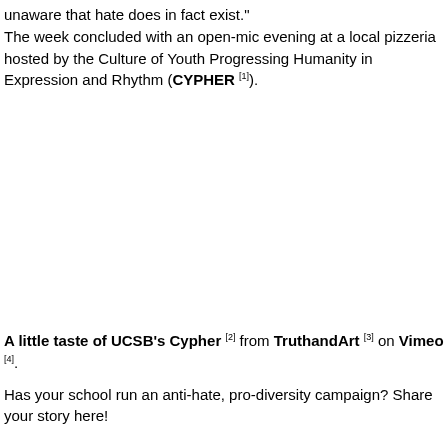unaware that hate does in fact exist." The week concluded with an open-mic evening at a local pizzeria hosted by the Culture of Youth Progressing Humanity in Expression and Rhythm (CYPHER [1]).
A little taste of UCSB's Cypher [2] from TruthandArt [3] on Vimeo [4].
Has your school run an anti-hate, pro-diversity campaign? Share your story here!